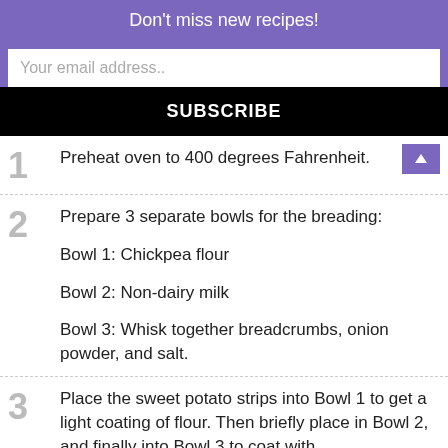Don't miss new recipes!
Your email address..
SUBSCRIBE
1  Preheat oven to 400 degrees Fahrenheit.
2  Prepare 3 separate bowls for the breading:

Bowl 1: Chickpea flour

Bowl 2: Non-dairy milk

Bowl 3: Whisk together breadcrumbs, onion powder, and salt.
3  Place the sweet potato strips into Bowl 1 to get a light coating of flour. Then briefly place in Bowl 2, and finally into Bowl 3 to coat with